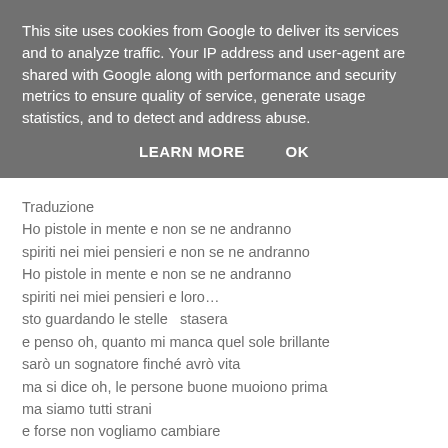This site uses cookies from Google to deliver its services and to analyze traffic. Your IP address and user-agent are shared with Google along with performance and security metrics to ensure quality of service, generate usage statistics, and to detect and address abuse.
LEARN MORE   OK
Traduzione
Ho pistole in mente e non se ne andranno
spiriti nei miei pensieri e non se ne andranno
Ho pistole in mente e non se ne andranno
spiriti nei miei pensieri e loro…
sto guardando le stelle  stasera
e penso oh, quanto mi manca quel sole brillante
sarò un sognatore finché avrò vita
ma si dice oh, le persone buone muoiono prima
ma siamo tutti strani
e forse non vogliamo cambiare
Ho pistole in mente e non se ne andranno
spiriti nei miei pensieri e non se ne andranno